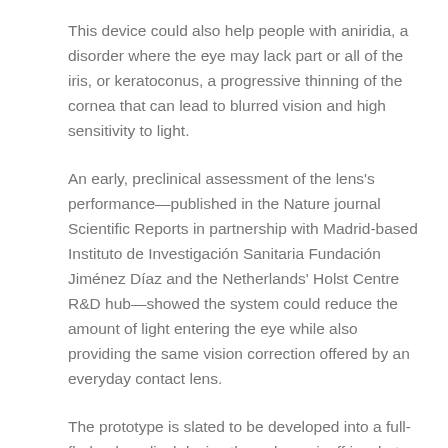This device could also help people with aniridia, a disorder where the eye may lack part or all of the iris, or keratoconus, a progressive thinning of the cornea that can lead to blurred vision and high sensitivity to light.
An early, preclinical assessment of the lens's performance—published in the Nature journal Scientific Reports in partnership with Madrid-based Instituto de Investigación Sanitaria Fundación Jiménez Díaz and the Netherlands' Holst Centre R&D hub—showed the system could reduce the amount of light entering the eye while also providing the same vision correction offered by an everyday contact lens.
The prototype is slated to be developed into a full-fledged medical device through a spinoff incubator from Imec and Ghent University dubbed Azalea Vision. The initiative hopes to eventually offer a power-efficient contact lens that can operate for an entire day.